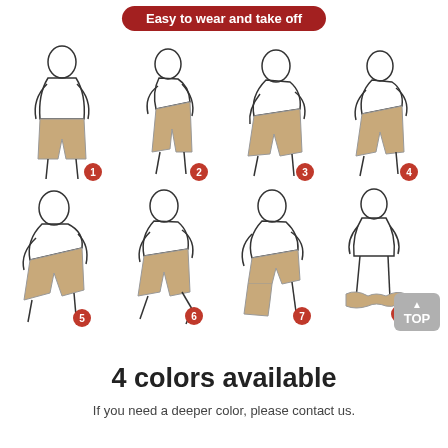Easy to wear and take off
[Figure (illustration): 8-step illustrated guide showing a person putting on compression shorts: step 1 standing upright holding waistband, step 2 bending forward pulling down, step 3-4 further bending and pulling, step 5-8 stepping out of the shorts leg by leg]
4 colors available
If you need a deeper color, please contact us.